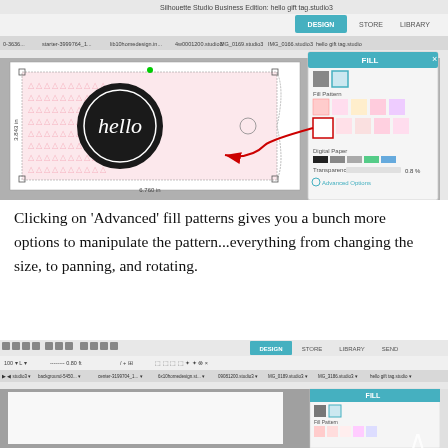[Figure (screenshot): Screenshot of Silhouette Studio Business Edition showing a gift tag design with a pink triangle/heart pattern fill and a black circle containing 'hello' in script text. The Fill panel is open on the right showing pattern options, Digital Paper section, Transparency slider at 0.8, and Advanced Options button. A red arrow points from a selected white fill swatch to the design canvas.]
Clicking on 'Advanced' fill patterns gives you a bunch more options to manipulate the pattern...everything from changing the size, to panning, and rotating.
[Figure (screenshot): Partial screenshot of Silhouette Studio Business Edition bottom toolbar and canvas area, showing the Fill panel open with pattern swatches visible.]